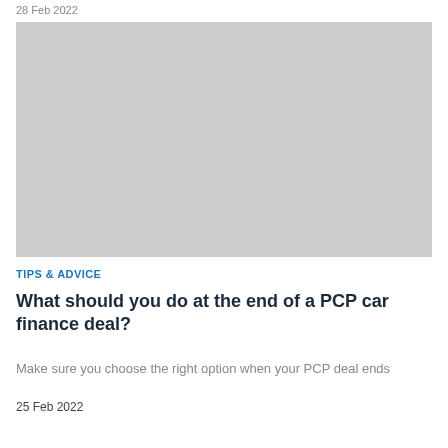28 Feb 2022
[Figure (photo): Grey placeholder image for article about PCP car finance deal]
TIPS & ADVICE
What should you do at the end of a PCP car finance deal?
Make sure you choose the right option when your PCP deal ends
25 Feb 2022